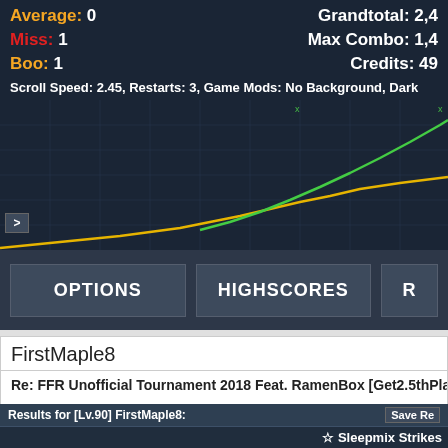Average: 0
Grandtotal: 2,4...
Miss: 1
Max Combo: 1,4...
Boo: 1
Credits: 49
Scroll Speed: 2.45, Restarts: 3, Game Mods: No Background, Dark
[Figure (continuous-plot): Line chart with two lines: a yellow/gold line rising from lower-left to upper-right, and a green line rising more steeply, crossing above the yellow line toward the right edge. Background is dark navy with grid lines.]
OPTIONS
HIGHSCORES
R...
FirstMaple8
Re: FFR Unofficial Tournament 2018 Feat. RamenBox [Get2.5thPlace...
Results for [Lv.90] FirstMaple8:
Save Re...
☆ Sleepmix Strikes...